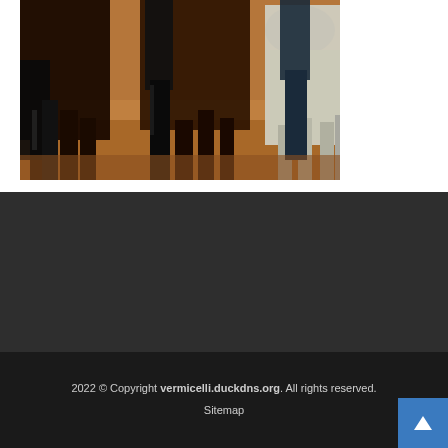[Figure (illustration): Partial view of a painting showing horses and riders/handlers. Dark horses on left side, a lighter/white horse on the right, with warm brown/ochre background. Bottom portion of figures visible — black boots, legs, and horse legs.]
2022 © Copyright vermicelli.duckdns.org. All rights reserved. Sitemap